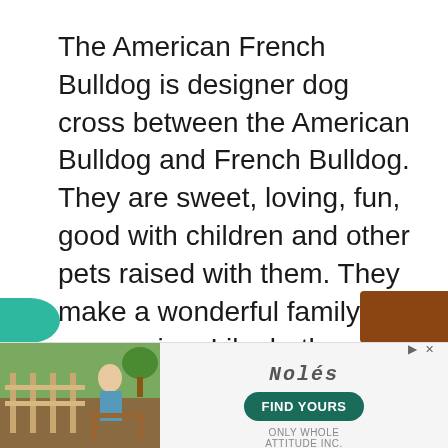The American French Bulldog is designer dog cross between the American Bulldog and French Bulldog. They are sweet, loving, fun, good with children and other pets raised with them. They make a wonderful family companion. Like both Bulldog parents, they are protective when it comes to the family.
[Figure (other): Advertisement banner at the bottom of the page showing an outdoor scene image on the left, a stylized logo text in the center, a 'FIND YOURS' button, and 'ONLY WHOLE' subtext. Navigation arrows and close button visible.]